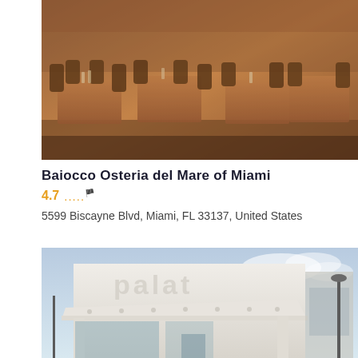[Figure (photo): Interior of Baiocco Osteria del Mare restaurant showing wooden tables and chairs with warm lighting]
Baiocco Osteria del Mare of Miami
4.7  .....
5599 Biscayne Blvd, Miami, FL 33137, United States
[Figure (photo): Exterior of Palat restaurant showing a modern white building with the Palat logo sign]